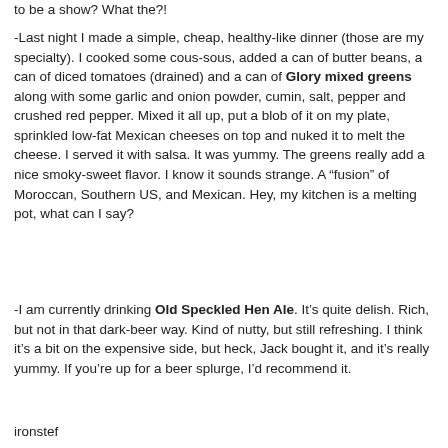to be a show? What the?!
-Last night I made a simple, cheap, healthy-like dinner (those are my specialty). I cooked some cous-sous, added a can of butter beans, a can of diced tomatoes (drained) and a can of Glory mixed greens along with some garlic and onion powder, cumin, salt, pepper and crushed red pepper. Mixed it all up, put a blob of it on my plate, sprinkled low-fat Mexican cheeses on top and nuked it to melt the cheese. I served it with salsa. It was yummy. The greens really add a nice smoky-sweet flavor. I know it sounds strange. A “fusion” of Moroccan, Southern US, and Mexican. Hey, my kitchen is a melting pot, what can I say?
-I am currently drinking Old Speckled Hen Ale. It’s quite delish. Rich, but not in that dark-beer way. Kind of nutty, but still refreshing. I think it’s a bit on the expensive side, but heck, Jack bought it, and it’s really yummy. If you’re up for a beer splurge, I’d recommend it.
ironstef